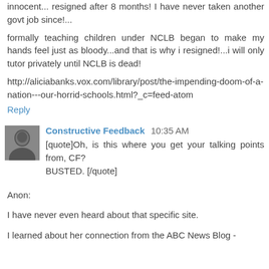innocent... resigned after 8 months! I have never taken another govt job since!...
formally teaching children under NCLB began to make my hands feel just as bloody...and that is why i resigned!...i will only tutor privately until NCLB is dead!
http://aliciabanks.vox.com/library/post/the-impending-doom-of-a-nation---our-horrid-schools.html?_c=feed-atom
Reply
Constructive Feedback  10:35 AM
[quote]Oh, is this where you get your talking points from, CF?
BUSTED. [/quote]
Anon:
I have never even heard about that specific site.
I learned about her connection from the ABC News Blog -